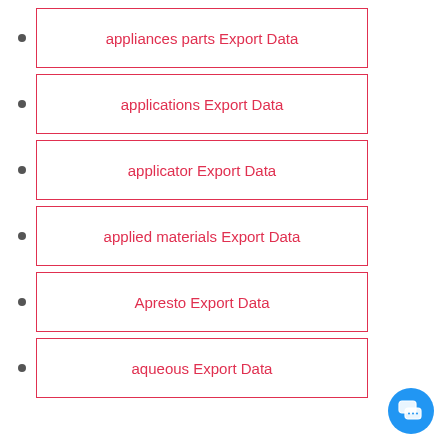appliances parts Export Data
applications Export Data
applicator Export Data
applied materials Export Data
Apresto Export Data
aqueous Export Data